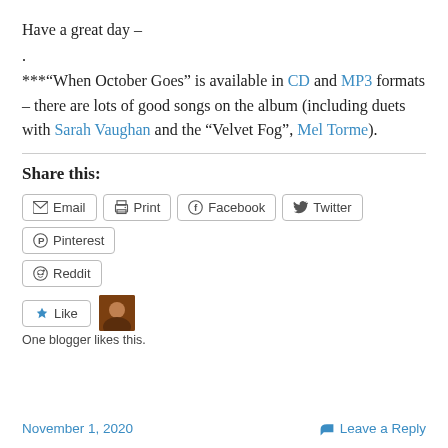Have a great day –
.
***"When October Goes" is available in CD and MP3 formats – there are lots of good songs on the album (including duets with Sarah Vaughan and the "Velvet Fog", Mel Torme).
Share this:
Email | Print | Facebook | Twitter | Pinterest | Reddit
Like | One blogger likes this.
November 1, 2020   Leave a Reply